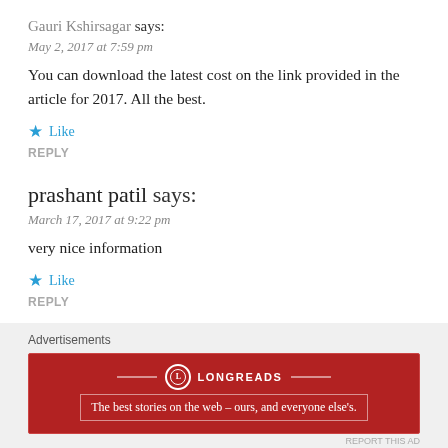Gauri Kshirsagar says:
May 2, 2017 at 7:59 pm
You can download the latest cost on the link provided in the article for 2017. All the best.
★ Like
REPLY
prashant patil says:
March 17, 2017 at 9:22 pm
very nice information
★ Like
REPLY
Advertisements
[Figure (other): Longreads advertisement banner: red background with Longreads logo and tagline 'The best stories on the web – ours, and everyone else's.']